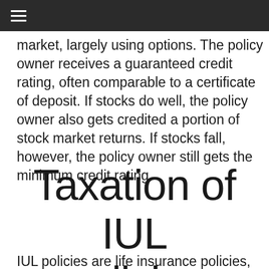≡
market, largely using options. The policy owner receives a guaranteed credit rating, often comparable to a certificate of deposit. If stocks do well, the policy owner also gets credited a portion of stock market returns. If stocks fall, however, the policy owner still gets the minimum credit rating.
Taxation of IUL policies
IUL policies are life insurance policies,